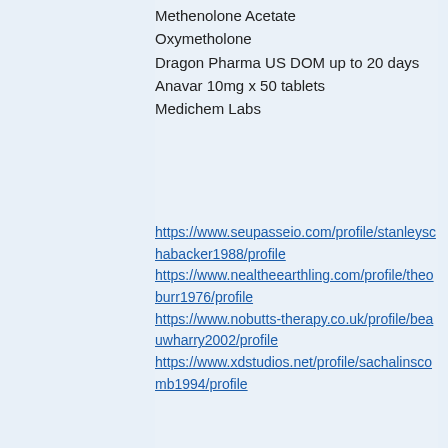Methenolone Acetate
Oxymetholone
Dragon Pharma US DOM up to 20 days
Anavar 10mg x 50 tablets
Medichem Labs
https://www.seupasseio.com/profile/stanleyschabacker1988/profile
https://www.nealtheearthling.com/profile/theoburr1976/profile
https://www.nobutts-therapy.co.uk/profile/beauwharry2002/profile
https://www.xdstudios.net/profile/sachalinscomb1994/profile